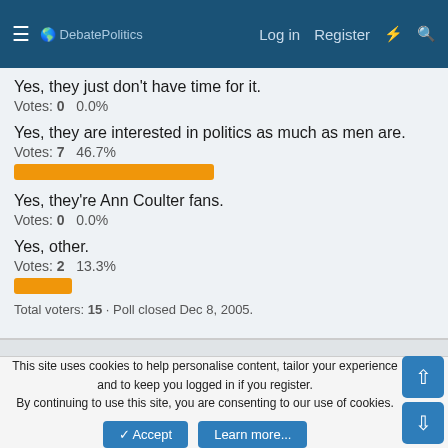DebatePolitics — Log in  Register
Yes, they just don't have time for it.
Votes: 0    0.0%
Yes, they are interested in politics as much as men are.
Votes: 7    46.7%
Yes, they're Ann Coulter fans.
Votes: 0    0.0%
Yes, other.
Votes: 2    13.3%
Total voters: 15 · Poll closed Dec 8, 2005.
This site uses cookies to help personalise content, tailor your experience and to keep you logged in if you register.
By continuing to use this site, you are consenting to our use of cookies.